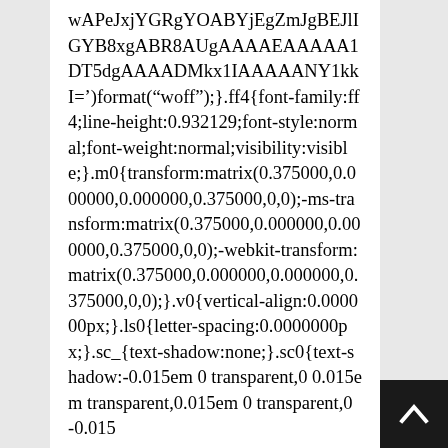wAPeJxjYGRgYOABYjEgZmJgBEJlIGYB8xgABR8AUgAAAAEAAAAA1DT5dgAAAADMkx1IAAAAANY1kkI=')format("woff");}.ff4{font-family:ff4;line-height:0.932129;font-style:normal;font-weight:normal;visibility:visible;}.m0{transform:matrix(0.375000,0.000000,0.000000,0.375000,0,0);-ms-transform:matrix(0.375000,0.000000,0.000000,0.375000,0,0);-webkit-transform:matrix(0.375000,0.000000,0.000000,0.375000,0,0);}.v0{vertical-align:0.000000px;}.ls0{letter-spacing:0.0000000px;}.sc_{text-shadow:none;}.sc0{text-shadow:-0.015em 0 transparent,0 0.015em transparent,0.015em 0 transparent,0 -0.015